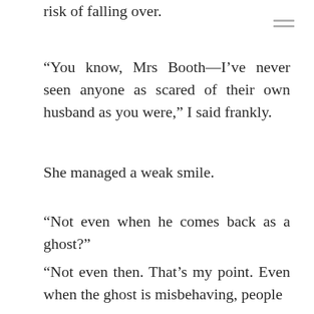risk of falling over.
“You know, Mrs Booth—I’ve never seen anyone as scared of their own husband as you were,” I said frankly.
She managed a weak smile.
“Not even when he comes back as a ghost?”
“Not even then. That’s my point. Even when the ghost is misbehaving, people think they’re safe because he’s a ghost.